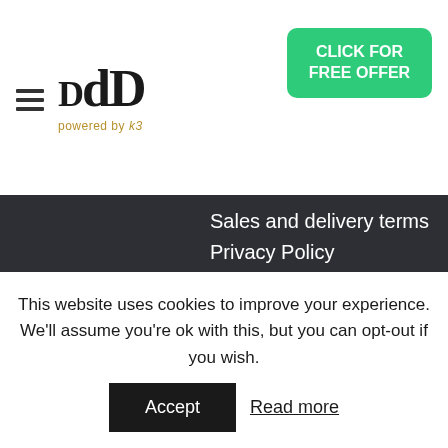[Figure (logo): DdD logo with 'powered by k3' tagline]
CLICK FOR FREE OFFER
Sales and delivery terms
Privacy Policy
API fair use policy
Contact
DdD Retail A/S
Theilgaards Allé 2
DK4600 Køge
This website uses cookies to improve your experience. We'll assume you're ok with this, but you can opt-out if you wish.
Accept
Read more